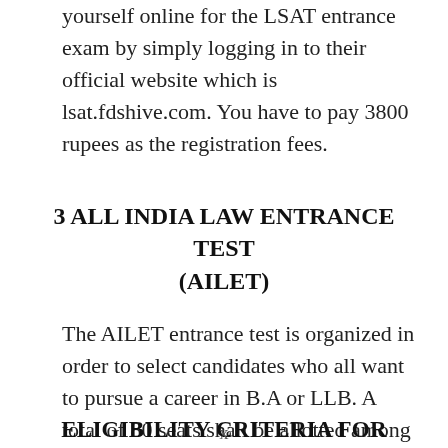yourself online for the LSAT entrance exam by simply logging in to their official website which is lsat.fdshive.com. You have to pay 3800 rupees as the registration fees.
3 ALL INDIA LAW ENTRANCE TEST (AILET)
The AILET entrance test is organized in order to select candidates who all want to pursue a career in B.A or LLB. A total of 80 seats shall be allotted among which 10 seats will be available for the Foreign Nationals.
ELIGIBILITY CRITERIA FOR AILET
x